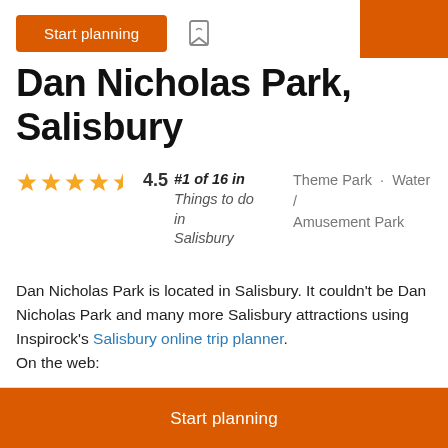[Figure (screenshot): Start planning button with bookmark icon at top, orange rectangle block cropped at right edge]
Dan Nicholas Park, Salisbury
#1 of 16 in Things to do in Salisbury · 4.5 stars · Theme Park · Water / Amusement Park
Dan Nicholas Park is located in Salisbury. It couldn't be Dan Nicholas Park and many more Salisbury attractions using Inspirock's Salisbury online trip planner. On the web:
[Figure (screenshot): Start planning orange button at bottom]